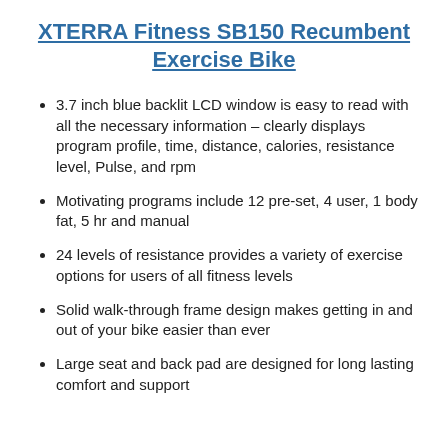XTERRA Fitness SB150 Recumbent Exercise Bike
3.7 inch blue backlit LCD window is easy to read with all the necessary information – clearly displays program profile, time, distance, calories, resistance level, Pulse, and rpm
Motivating programs include 12 pre-set, 4 user, 1 body fat, 5 hr and manual
24 levels of resistance provides a variety of exercise options for users of all fitness levels
Solid walk-through frame design makes getting in and out of your bike easier than ever
Large seat and back pad are designed for long lasting comfort and support